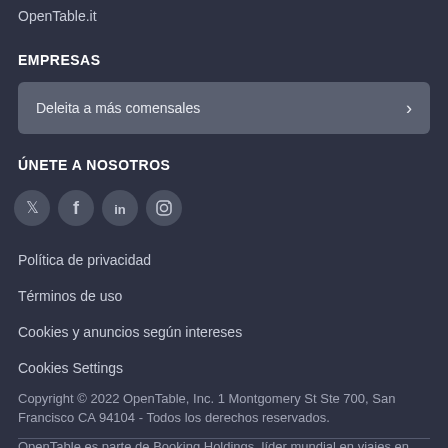OpenTable.it
EMPRESAS
Deleita a más comensales
ÚNETE A NOSOTROS
[Figure (illustration): Four social media icons: Twitter, Facebook, LinkedIn, Instagram]
Política de privacidad
Términos de uso
Cookies y anuncios según intereses
Cookies Settings
Copyright © 2022 OpenTable, Inc. 1 Montgomery St Ste 700, San Francisco CA 94104 - Todos los derechos reservados.
OpenTable es parte de Booking Holdings, líder mundial en viajes en